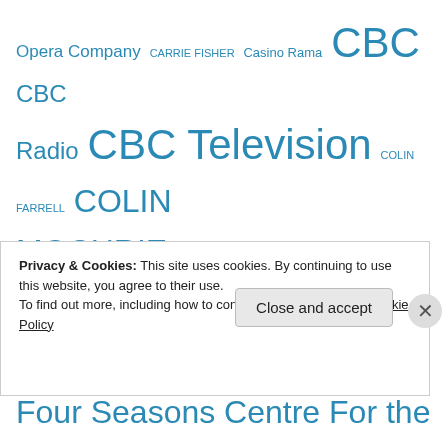Opera Company CARRIE FISHER Casino Rama CBC CBC Radio CBC Television COLIN FARRELL COLIN MOCHRIE COLM FEORE CTV DEB McGRATH DOLLY PARTON Emmy Awards Facebook Factory Theatre Fallsview Casino Four Seasons Centre For the Performing Arts GEORGE CLOONEY GEORGE STROUMBOULOPOULOS Glee GLENN GOULD GORDON PINSENT GUILLAUME COTE HBO Hot Docs HUGH HEFNER JANE FONDA JAYNE EASTWOOD JIAN GHOMESHI JOAN RIVERS JULIA
Privacy & Cookies: This site uses cookies. By continuing to use this website, you agree to their use.
To find out more, including how to control cookies, see here: Cookie Policy
Close and accept